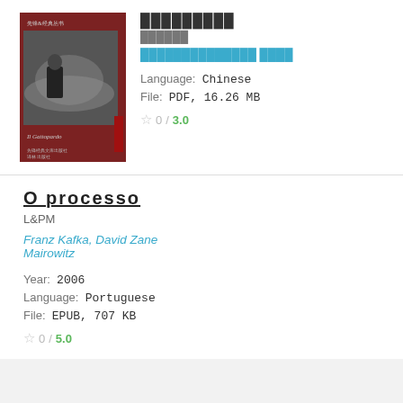[Figure (photo): Book cover with dark red/maroon background, Chinese character for 'leopard', black and white photo of a man, text in Chinese and Italian 'Il Gattopardo']
█████████
██████
██████████████ ████ (author in cyan italic)
Language: Chinese
File: PDF, 16.26 MB
☆ 0 / 3.0
O processo
L&PM
Franz Kafka, David Zane Mairowitz
Year: 2006
Language: Portuguese
File: EPUB, 707 KB
☆ 0 / 5.0